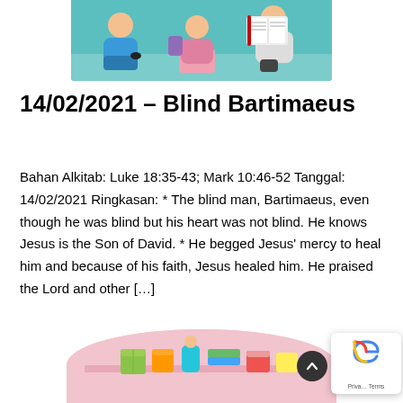[Figure (illustration): Children and adult sitting on floor reading books together, colorful illustration cropped at top]
14/02/2021 – Blind Bartimaeus
Bahan Alkitab: Luke 18:35-43; Mark 10:46-52 Tanggal: 14/02/2021 Ringkasan: * The blind man, Bartimaeus, even though he was blind but his heart was not blind. He knows Jesus is the Son of David. * He begged Jesus' mercy to heal him and because of his faith, Jesus healed him. He praised the Lord and other […]
[Figure (illustration): Children's classroom illustration with colorful blocks and toys, rounded top edge, partially visible at bottom of page]